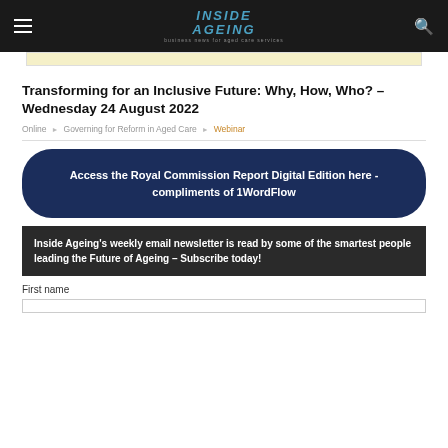Inside Ageing – business news for aged care services
Transforming for an Inclusive Future: Why, How, Who? – Wednesday 24 August 2022
Online · Governing for Reform in Aged Care · Webinar
[Figure (other): Dark navy rounded button: Access the Royal Commission Report Digital Edition here - compliments of 1WordFlow]
Inside Ageing's weekly email newsletter is read by some of the smartest people leading the Future of Ageing – Subscribe today!
First name